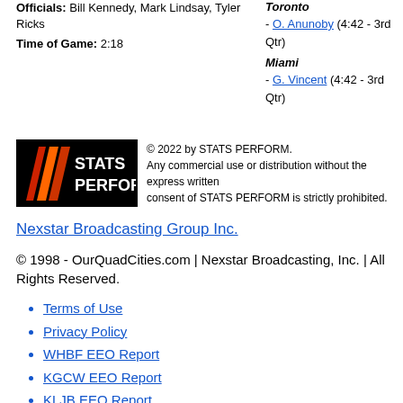Officials: Bill Kennedy, Mark Lindsay, Tyler Ricks
Time of Game: 2:18
Toronto - O. Anunoby (4:42 - 3rd Qtr)
Miami - G. Vincent (4:42 - 3rd Qtr)
[Figure (logo): STATS PERFORM logo - black background with red and orange diagonal stripes on the left side and white text reading STATS PERFORM]
© 2022 by STATS PERFORM. Any commercial use or distribution without the express written consent of STATS PERFORM is strictly prohibited.
Nexstar Broadcasting Group Inc.
© 1998 - OurQuadCities.com | Nexstar Broadcasting, Inc. | All Rights Reserved.
Terms of Use
Privacy Policy
WHBF EEO Report
KGCW EEO Report
KLJB EEO Report
WHBF FCC Public File
KGCW FCC Public File
KLJB FCC Public FIle